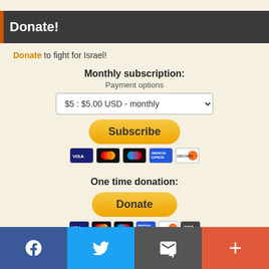Donate!
Donate to fight for Israel!
Monthly subscription:
Payment options
$5 : $5.00 USD - monthly
[Figure (other): Subscribe button (PayPal yellow rounded button)]
[Figure (other): Payment card icons: Visa, Mastercard, Maestro, American Express, Discover]
One time donation:
[Figure (other): Donate button (PayPal yellow rounded button)]
[Figure (other): Payment card icons: Visa, Mastercard, Maestro, American Express, Discover, UnionPay]
Facebook | Twitter | Email | Plus social share buttons